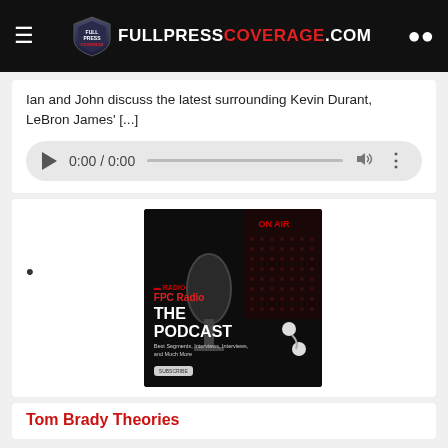FULLPRESSCOVERAGE.COM
Ian and John discuss the latest surrounding Kevin Durant, LeBron James' [...]
[Figure (other): Audio player UI with play button, time display 0:00 / 0:00, progress bar, volume and more icons]
[Figure (other): FPC Radio - THE PODCAST promotional image with microphone on dark background]
Tom Brady Theories
by Full Press Coverage on August 22, 2022 at 3:17 pm
Ian and John discuss various Tom Brady rumors such as the Masked Singer [...]